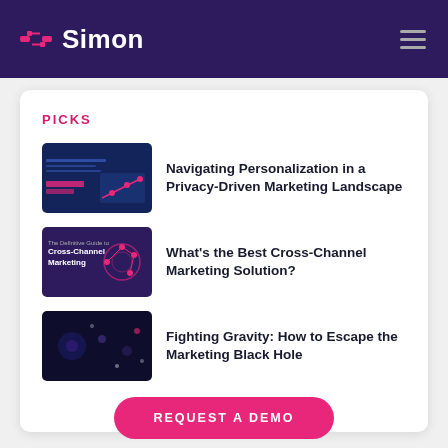Simon
PICKS
Navigating Personalization in a Privacy-Driven Marketing Landscape
What's the Best Cross-Channel Marketing Solution?
Fighting Gravity: How to Escape the Marketing Black Hole
REQUEST A DEMO